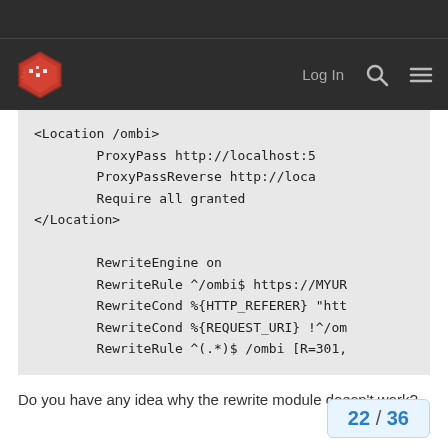<Location /ombi>
        ProxyPass http://localhost:5
        ProxyPassReverse http://loca
        Require all granted
</Location>

        RewriteEngine on
        RewriteRule ^/ombi$ https://MYUR
        RewriteCond %{HTTP_REFERER} "htt
        RewriteCond %{REQUEST_URI} !^/om
        RewriteRule ^(.*)$ /ombi [R=301,
Do you have any idea why the rewrite module doesn't work?
22 / 36